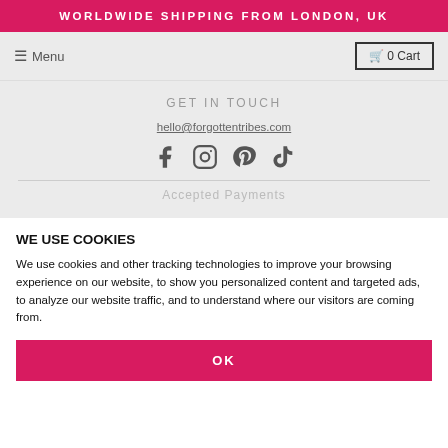WORLDWIDE SHIPPING FROM LONDON, UK
Menu
0 Cart
GET IN TOUCH
hello@forgottentribes.com
[Figure (illustration): Social media icons: Facebook, Instagram, Pinterest, TikTok]
Accepted Payments
WE USE COOKIES
We use cookies and other tracking technologies to improve your browsing experience on our website, to show you personalized content and targeted ads, to analyze our website traffic, and to understand where our visitors are coming from.
OK